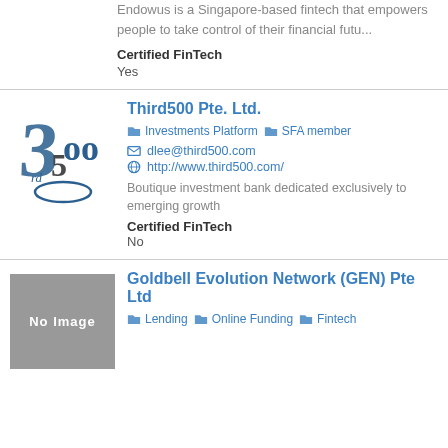Endowus is a Singapore-based fintech that empowers people to take control of their financial futu...
Certified FinTech
Yes
Third500 Pte. Ltd.
Investments Platform  SFA member
dlee@third500.com
http://www.third500.com/
Boutique investment bank dedicated exclusively to emerging growth
Certified FinTech
No
Goldbell Evolution Network (GEN) Pte Ltd
Lending  Online Funding  Fintech